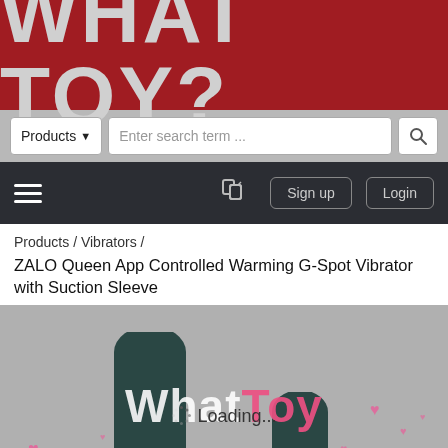WHAT TOY?
Products ∨   Enter search term ...   🔍
≡  [compare icon]  Sign up  Login
Products /  Vibrators /  ZALO Queen App Controlled Warming G-Spot Vibrator with Suction Sleeve
[Figure (photo): Product loading screen showing 'WhatToy' watermark with pink hearts overlay and 'Loading...' spinner over a grey background with dark teal vibrator product images partially visible at bottom]